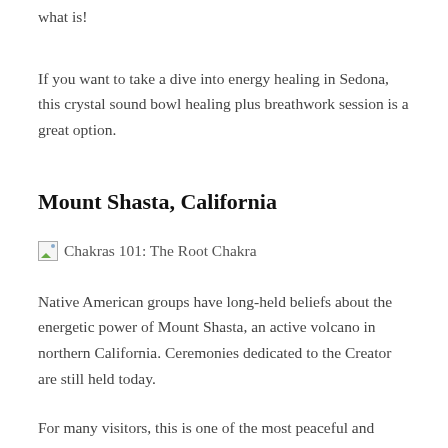what is!
If you want to take a dive into energy healing in Sedona, this crystal sound bowl healing plus breathwork session is a great option.
Mount Shasta, California
[Figure (other): Broken image placeholder with alt text: Chakras 101: The Root Chakra]
Native American groups have long-held beliefs about the energetic power of Mount Shasta, an active volcano in northern California. Ceremonies dedicated to the Creator are still held today.
For many visitors, this is one of the most peaceful and grounding places to visit. After all, it is believed to be